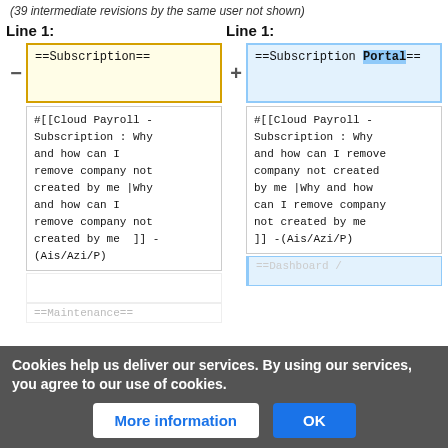(39 intermediate revisions by the same user not shown)
Line 1:
Line 1:
[Figure (screenshot): Diff view showing left column with minus sign and yellow-bordered box containing '==Subscription==' and right column with plus sign and blue-bordered box containing '==Subscription Portal==' with 'Portal' highlighted in blue]
#[[Cloud Payroll - Subscription : Why and how can I remove company not created by me |Why and how can I remove company not created by me  ]] -(Ais/Azi/P)
#[[Cloud Payroll - Subscription : Why and how can I remove company not created by me |Why and how can I remove company not created by me ]] -(Ais/Azi/P)
==Dashboard / ...
==Maintenance==
Cookies help us deliver our services. By using our services, you agree to our use of cookies.